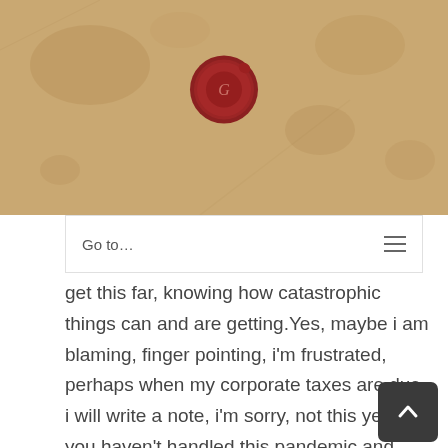[Figure (illustration): Parchment/aged paper background with a red wax seal in the center top area]
Go to...
get this far, knowing how catastrophic things can and are getting.Yes, maybe i am blaming, finger pointing, i'm frustrated, perhaps when my corporate taxes are due, i will write a note, i'm sorry, not this year, you haven't handled this pandemic and kept us safe, this is what we pay for, and we didn't get what we should of.